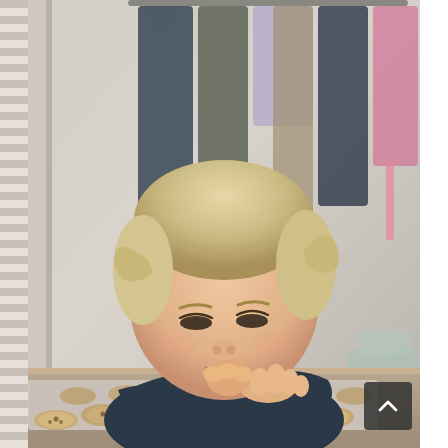[Figure (photo): A toddler with light blonde hair in small pigtails, wearing a dark navy long-sleeve top, leaning over a table and reaching into a baking tray filled with small cookies. The background shows hanging clothes on a rack, slightly blurred. In the bottom-right corner, a dark rounded-square button with a white upward-pointing chevron (scroll-to-top UI element) is visible.]